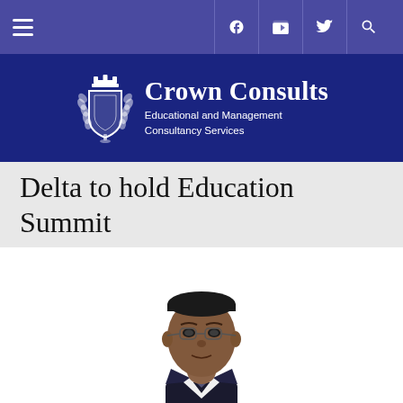Crown Consults Educational and Management Consultancy Services — Navigation bar with hamburger menu, Facebook, YouTube, Twitter, Search icons
[Figure (logo): Crown Consults logo with crest/shield emblem and laurel branches. Text reads: Crown Consults, Educational and Management Consultancy Services]
Delta to hold Education Summit
[Figure (photo): Portrait photo of a man in a dark suit and glasses, looking at camera, from shoulders up]